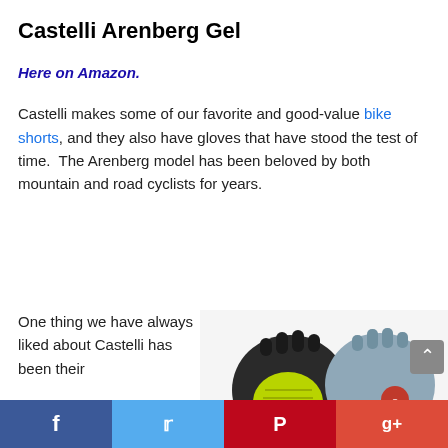Castelli Arenberg Gel
Here on Amazon.
Castelli makes some of our favorite and good-value bike shorts, and they also have gloves that have stood the test of time.  The Arenberg model has been beloved by both mountain and road cyclists for years.
One thing we have always liked about Castelli has been their
[Figure (photo): Two Castelli Arenberg Gel cycling gloves shown side by side — one black with yellow/green gel padding, one gray/blue with red Castelli logo badge. Both are fingerless/half-finger style gloves.]
Facebook | Twitter | Pinterest | Google+